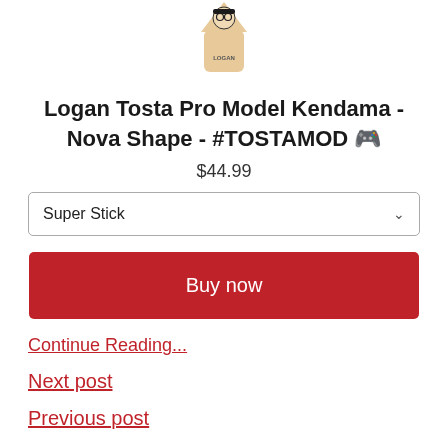[Figure (photo): Product image of Logan Tosta Pro Model Kendama wooden toy shaped like a small figure with glasses and text LOGAN on it]
Logan Tosta Pro Model Kendama - Nova Shape - #TOSTAMOD 🎮
$44.99
Super Stick (dropdown selector)
Buy now
Continue Reading...
Next post
Previous post